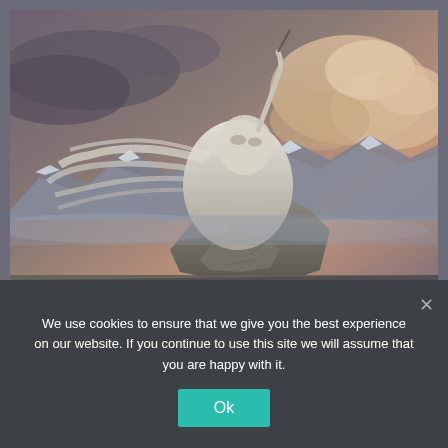[Figure (illustration): Fantasy digital artwork showing a white-furred creature with long flowing hair standing on a rocky mountain peak, holding a bow or instrument above its head. Dramatic stormy sky with clouds in warm orange tones in the background, snow-capped mountain ranges visible below.]
The Way of the Erhu by Cheraine Collette
We use cookies to ensure that we give you the best experience on our website. If you continue to use this site we will assume that you are happy with it.